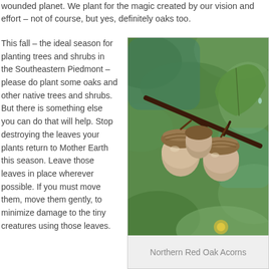wounded planet. We plant for the magic created by our vision and effort – not of course, but yes, definitely oaks too.
This fall – the ideal season for planting trees and shrubs in the Southeastern Piedmont – please do plant some oaks and other native trees and shrubs. But there is something else you can do that will help. Stop destroying the leaves your plants return to Mother Earth this season. Leave those leaves in place wherever possible. If you must move them, move them gently, to minimize damage to the tiny creatures using those leaves.
[Figure (photo): Close-up photograph of Northern Red Oak acorns on a branch with green leaves in the background]
Northern Red Oak Acorns